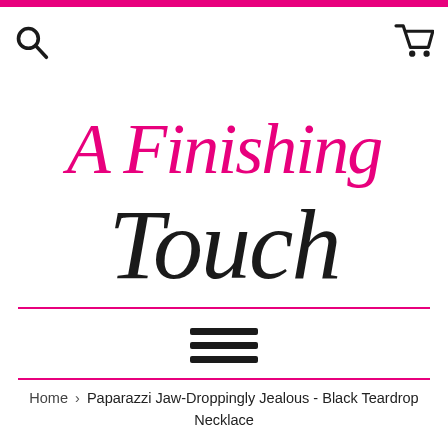A Finishing Touch — website header with search and cart icons, pink top bar
[Figure (logo): A Finishing Touch cursive logo in pink and black script]
[Figure (other): Hamburger menu icon (three horizontal lines)]
Home › Paparazzi Jaw-Droppingly Jealous - Black Teardrop Necklace